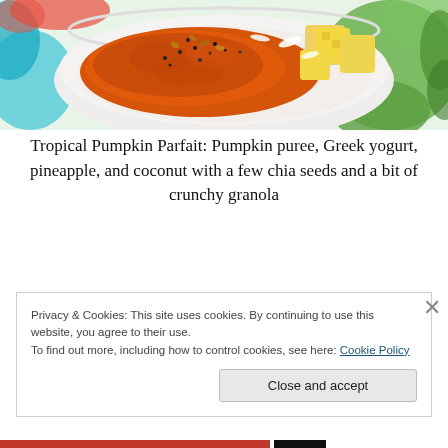[Figure (photo): A bowl containing pumpkin puree parfait with pineapple chunks, topped with chia seeds and granola, placed on a colorful floral tablecloth with teal and green flowers.]
Tropical Pumpkin Parfait: Pumpkin puree, Greek yogurt, pineapple, and coconut with a few chia seeds and a bit of crunchy granola
Privacy & Cookies: This site uses cookies. By continuing to use this website, you agree to their use.
To find out more, including how to control cookies, see here: Cookie Policy